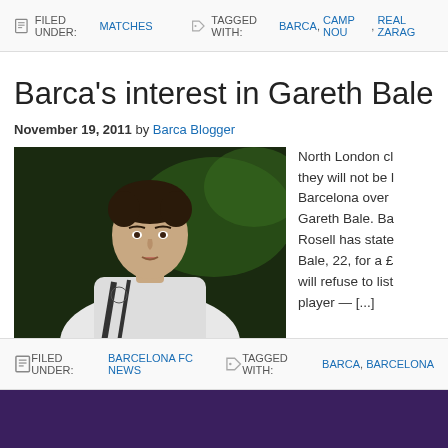FILED UNDER: MATCHES   TAGGED WITH: BARCA, CAMP NOU, REAL ZARAG…
Barca's interest in Gareth Bale t…
November 19, 2011 by Barca Blogger
[Figure (photo): Photo of Gareth Bale in a white Tottenham Hotspur jersey with Puma logo, dark background]
North London cl… they will not be l… Barcelona over … Gareth Bale. Ba… Rosell has state… Bale, 22, for a £… will refuse to list… player — […]
FILED UNDER: BARCELONA FC NEWS   TAGGED WITH: BARCA, BARCELONA…